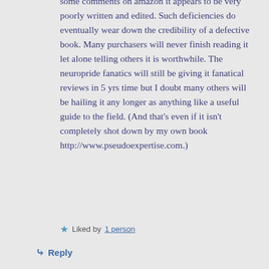some comments on amazon it appears to be very poorly written and edited. Such deficiencies do eventually wear down the credibility of a defective book. Many purchasers will never finish reading it let alone telling others it is worthwhile. The neuropride fanatics will still be giving it fanatical reviews in 5 yrs time but I doubt many others will be hailing it any longer as anything like a useful guide to the field. (And that's even if it isn't completely shot down by my own book http://www.pseudoexpertise.com.)
Liked by 1 person
Reply